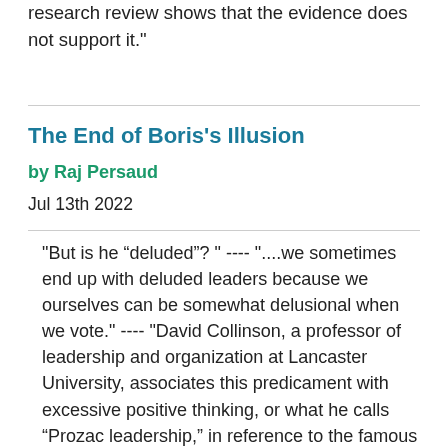research review shows that the evidence does not support it."
The End of Boris's Illusion
by Raj Persaud
Jul 13th 2022
"But is he “deluded”? " ---- "....we sometimes end up with deluded leaders because we ourselves can be somewhat delusional when we vote." ---- "David Collinson, a professor of leadership and organization at Lancaster University, associates this predicament with excessive positive thinking, or what he calls “Prozac leadership,” in reference to the famous antidepressant that promises to cheer people up without actually fixing what is wrong in their lives. " ---- "In politics, Prozac leaders come to power by selling the electorate on wildly overoptimistic views of the future. When the public buys into a Prozac leader’s narrative, it is they who